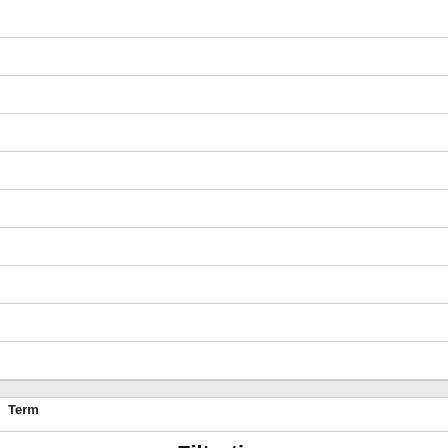Term
Filtration
Definition
Passive transport. Movement of water and solutes through a